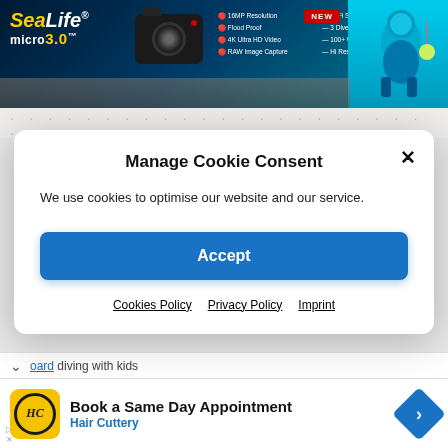[Figure (screenshot): SeaLife Micro 3.0 camera banner advertisement with features listed: 16MP Resolution, Flood Proof, 4K Ultra HD Video, RAW Image Capture, WiFi Share, 3 Dive Modes, 100+ Wide Angle Lens, Hi Res Display. NEW badge shown. Diver image on right side.]
Manage Cookie Consent
We use cookies to optimise our website and our service.
Accept
Cookies Policy  Privacy Policy  Imprint
diving with kids
[Figure (screenshot): Hair Cuttery advertisement: Book a Same Day Appointment, Hair Cuttery, with HC logo and navigation arrow icon.]